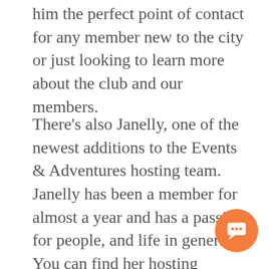him the perfect point of contact for any member new to the city or just looking to learn more about the club and our members.
There's also Janelly, one of the newest additions to the Events & Adventures hosting team.  Janelly has been a member for almost a year and has a passion for people, and life in general.  You can find her hosting everything from days out at the museum, to group dinners, to our yacht parties on the lake.  Janelly makes it very easy for members to integrate into the group, and in good fun and in a way that breaks the ice for those members who are a bit more shy or nerve... about their first event. More often then not...
[Figure (other): Orange circular chat/messaging button icon in the bottom right corner]